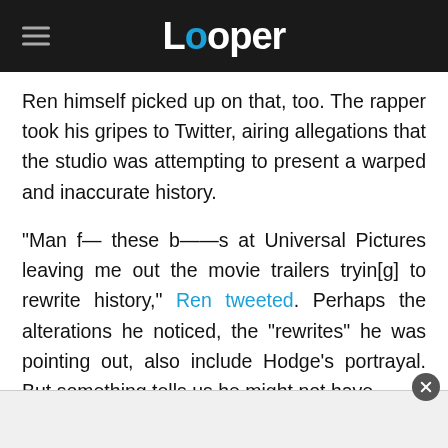Looper
Ren himself picked up on that, too. The rapper took his gripes to Twitter, airing allegations that the studio was attempting to present a warped and inaccurate history.
"Man f— these b——s at Universal Pictures leaving me out the movie trailers tryin[g] to rewrite history," Ren tweeted. Perhaps the alterations he noticed, the "rewrites" he was pointing out, also include Hodge's portrayal. But something tells us he might not have